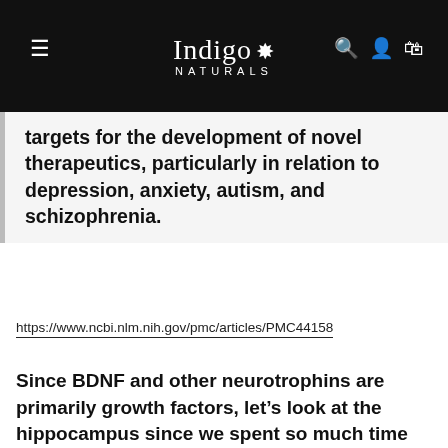Indigo Naturals
targets for the development of novel therapeutics, particularly in relation to depression, anxiety, autism, and schizophrenia.
https://www.ncbi.nlm.nih.gov/pmc/articles/PMC4415
Since BDNF and other neurotrophins are primarily growth factors, let’s look at the hippocampus since we spent so much time there for anxiety:
Endocannabinoids (eCB) are one of the main systems controlling both